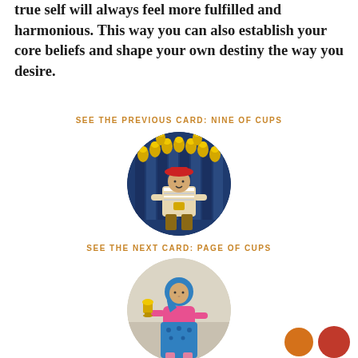true self will always feel more fulfilled and harmonious. This way you can also establish your core beliefs and shape your own destiny the way you desire.
SEE THE PREVIOUS CARD: NINE OF CUPS
[Figure (illustration): Circular cropped tarot card image of the Nine of Cups — a seated figure in a red hat with nine golden cups arranged in an arc above, against a blue curtain background.]
SEE THE NEXT CARD: PAGE OF CUPS
[Figure (illustration): Circular cropped tarot card image of the Page of Cups — a young figure in colorful blue and pink attire holding a golden cup, against a light background.]